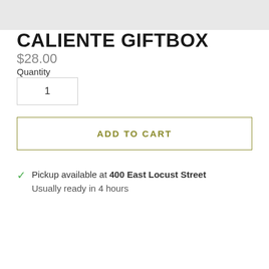[Figure (other): Gray banner/image area at top of page]
CALIENTE GIFTBOX
$28.00
Quantity
1
ADD TO CART
Pickup available at 400 East Locust Street
Usually ready in 4 hours